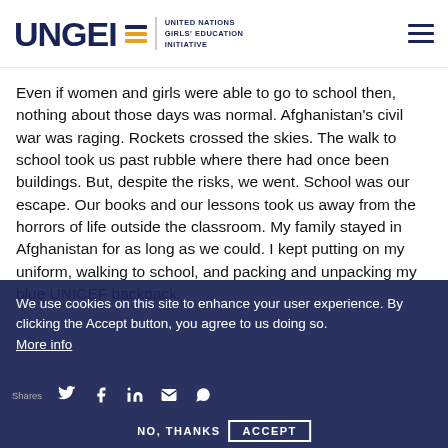UNGEI — UNITED NATIONS GIRLS' EDUCATION INITIATIVE
Even if women and girls were able to go to school then, nothing about those days was normal. Afghanistan's civil war was raging. Rockets crossed the skies. The walk to school took us past rubble where there had once been buildings. But, despite the risks, we went. School was our escape. Our books and our lessons took us away from the horrors of life outside the classroom. My family stayed in Afghanistan for as long as we could. I kept putting on my uniform, walking to school, and packing and unpacking my blue UNICEF backpack.
We use cookies on this site to enhance your user experience. By clicking the Accept button, you agree to us doing so. More info